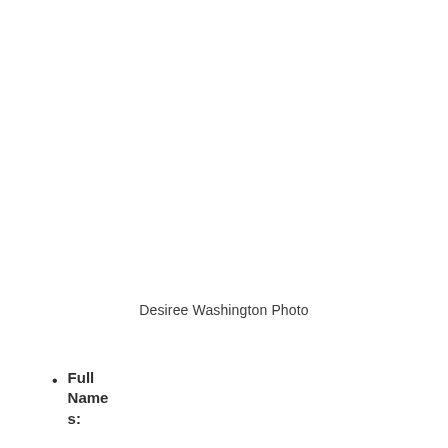Desiree Washington Photo
Full Names: Desir